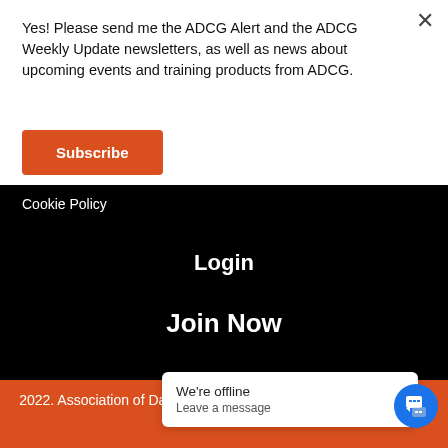Yes! Please send me the ADCG Alert and the ADCG Weekly Update newsletters, as well as news about upcoming events and training products from ADCG.
Subscribe
Cookie Policy
Login
Join Now
2022. Association of Data and Consumer Governance. © All rights reserved
We're offline
Leave a message